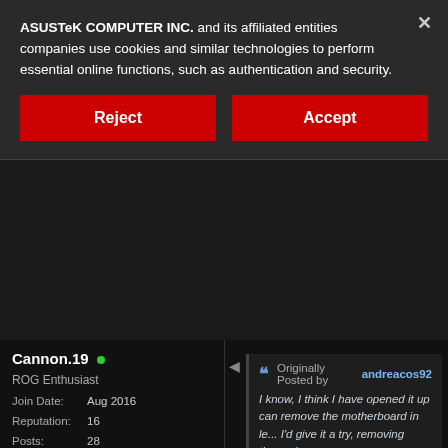ASUSTeK COMPUTER INC. and its affiliated entities companies use cookies and similar technologies to perform essential online functions, such as authentication and security.
Reject
Accept
Cannon.19 •
ROG Enthusiast
Join Date: Aug 2016
Reputation: 16
Posts: 28
Originally Posted by andreacos92
I know, I think I have opened it up can remove the motherboard in le... I'd give it a try, removing thermal p
You can try with NBFC and a custo kick in with lower threshold. With r registers, you can also "unlock" th that should be about 4100-4150 rp rpm for GPU fan. At these speeds,
Hmm I'll give it a try. There's no risk like d Btw, 20 minutes, nice man, that's really fa